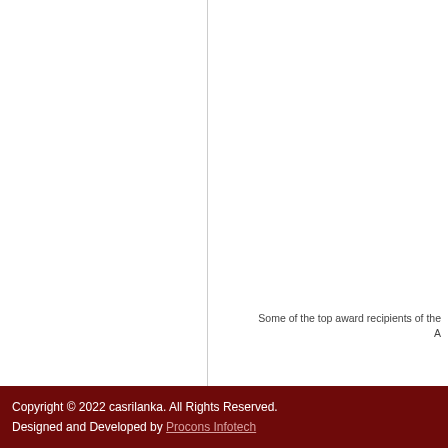Some of the top award recipients of the A
Copyright © 2022 casrilanka. All Rights Reserved.
Designed and Developed by Procons Infotech